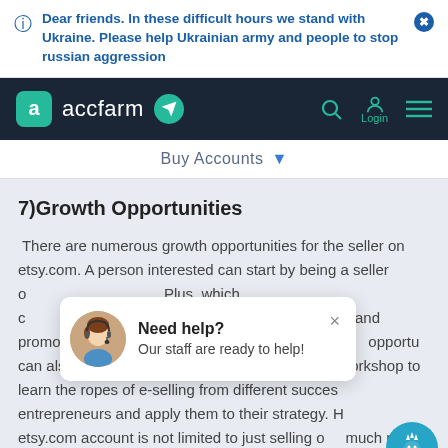Dear friends. In these difficult hours we stand with Ukraine. Please help Ukrainian army and people to stop russian aggression
[Figure (screenshot): Website navigation bar for accfarm with logo, telegram icon, search, login, and menu icons]
Buy Accounts
7)Growth Opportunities
There are numerous growth opportunities for the seller on etsy.com. A person interested can start by being a seller on... Plus, which o... ng and promoti... opportu... rs can also enroll themselves in the Etsy's class or workshop to learn the ropes of e-selling from different successful entrepreneurs and apply them to their strategy. Having an etsy.com account is not limited to just selling one much more than it. It helps you grow and expand your business.
[Figure (screenshot): Chat support popup with agent photo, 'Need help? Our staff are ready to help!' message and close button]